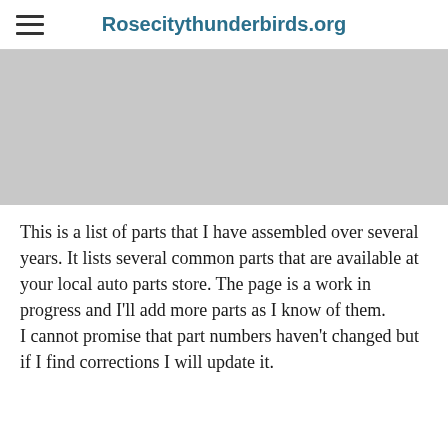Rosecitythunderbirds.org
[Figure (photo): Gray placeholder image area at the top of the page content]
This is a list of parts that I have assembled over several years. It lists several common parts that are available at your local auto parts store. The page is a work in progress and I'll add more parts as I know of them.
I cannot promise that part numbers haven't changed but if I find corrections I will update it.